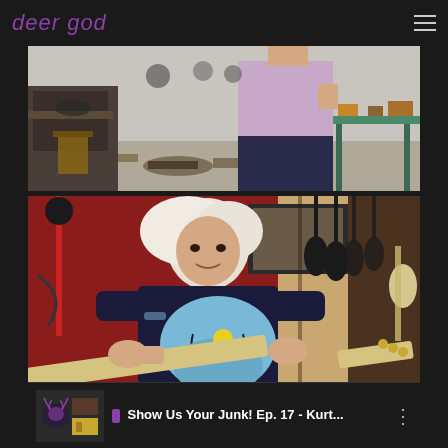deer god
[Figure (photo): Workshop or studio interior scene with a person in a lavender shirt standing among various tools, equipment, and art objects on tables and shelves against a white wall.]
[Figure (photo): Person with white hair holding a light blue semi-hollow electric guitar, wearing a dark navy shirt, standing in front of a red wall. Multiple guitars hang on hooks in the background to the right.]
[Figure (screenshot): Video player thumbnail bar showing 'Show Us Your Junk! Ep. 17 - Kurt...' with a small deer god logo icon on the left and a three-dot menu on the right.]